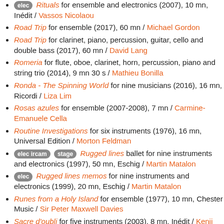[elec] Rituals for ensemble and electronics (2007), 10 mn, Inédit / Vassos Nicolaou
Road Trip for ensemble (2017), 60 mn / Michael Gordon
Road Trip for clarinet, piano, percussion, guitar, cello and double bass (2017), 60 mn / David Lang
Romeria for flute, oboe, clarinet, horn, percussion, piano and string trio (2014), 9 mn 30 s / Mathieu Bonilla
Ronda - The Spinning World for nine musicians (2016), 16 mn, Ricordi / Liza Lim
Rosas azules for ensemble (2007-2008), 7 mn / Carmine-Emanuele Cella
Routine Investigations for six instruments (1976), 16 mn, Universal Edition / Morton Feldman
[elec ircam] [stage] Rugged lines ballet for nine instruments and electronics (1997), 50 mn, Eschig / Martin Matalon
[elec] Rugged lines memos for nine instruments and electronics (1999), 20 mn, Eschig / Martin Matalon
Runes from a Holy Island for ensemble (1977), 10 mn, Chester Music / Sir Peter Maxwell Davies
Sacre d'oubli for five instruments (2003), 8 mn, Inédit / Kenji Sakai
[elec] Saison des cris for seven instruments (2006), 20 mn,